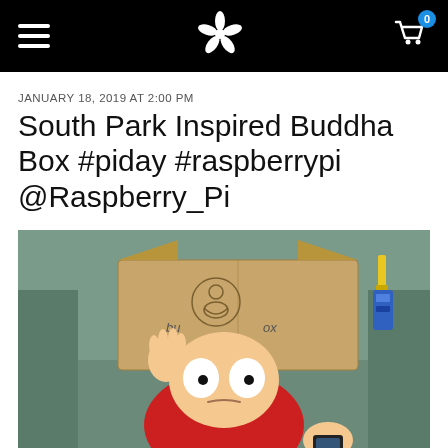Navigation bar with hamburger menu, star logo, and shopping cart with badge 0
JANUARY 18, 2019 AT 2:00 PM
South Park Inspired Buddha Box #piday #raspberrypi @Raspberry_Pi
[Figure (photo): Screenshot from South Park animated TV show showing Cartman character holding a Buddha Box (cardboard box worn over head) with a buddha logo on it. The box reads 'bu...ox'. Cartman is wearing a red shirt and looking blankly forward.]